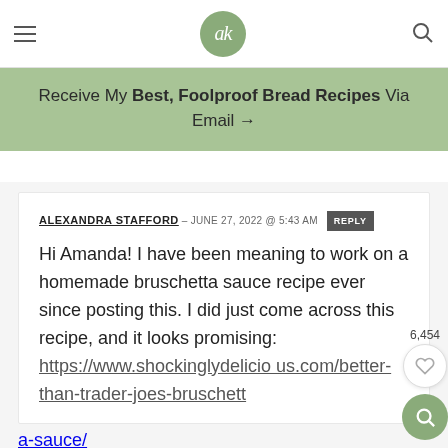ak — navigation header with logo, hamburger menu, and search icon
Receive My Best, Foolproof Bread Recipes Via Email →
ALEXANDRA STAFFORD – JUNE 27, 2022 @ 5:43 AM  REPLY
Hi Amanda! I have been meaning to work on a homemade bruschetta sauce recipe ever since posting this. I did just come across this recipe, and it looks promising: https://www.shockinglydelicious.com/better-than-trader-joes-bruschetta-sauce/